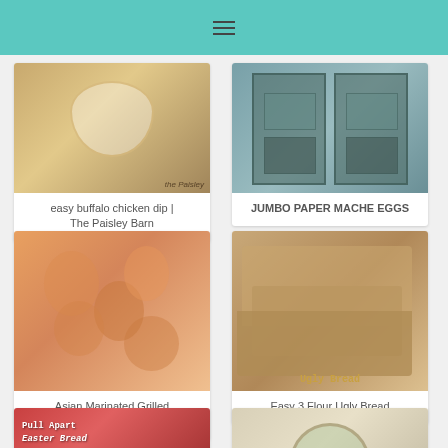Navigation menu icon
[Figure (photo): Photo of buffalo chicken dip in a white bowl]
easy buffalo chicken dip | The Paisley Barn
[Figure (photo): Photo of teal/green doors]
JUMBO PAPER MACHE EGGS
[Figure (photo): Photo of Asian marinated grilled shrimp on skewers]
Asian Marinated Grilled Shrimp
[Figure (photo): Photo of sliced bread loaf with text 'Ugly Bread']
Easy 3 Flour Ugly Bread
[Figure (photo): Photo of pull apart Easter bread]
[Figure (photo): Photo of a decorated mason jar]